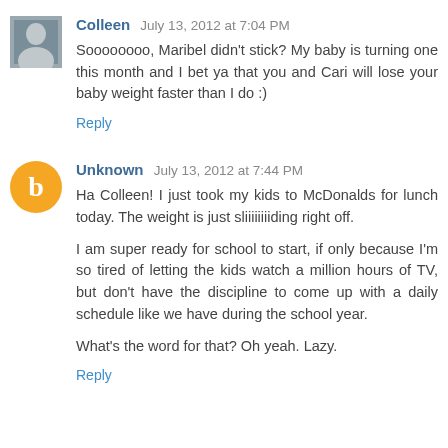Colleen July 13, 2012 at 7:04 PM
Soooooooo, Maribel didn't stick? My baby is turning one this month and I bet ya that you and Cari will lose your baby weight faster than I do :)
Reply
Unknown July 13, 2012 at 7:44 PM
Ha Colleen! I just took my kids to McDonalds for lunch today. The weight is just sliiiiiiiiding right off.
I am super ready for school to start, if only because I'm so tired of letting the kids watch a million hours of TV, but don't have the discipline to come up with a daily schedule like we have during the school year.
What's the word for that? Oh yeah. Lazy.
Reply